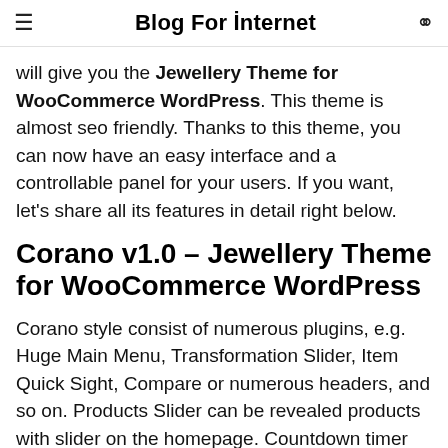Blog For İnternet
will give you the Jewellery Theme for WooCommerce WordPress. This theme is almost seo friendly. Thanks to this theme, you can now have an easy interface and a controllable panel for your users. If you want, let's share all its features in detail right below.
Corano v1.0 – Jewellery Theme for WooCommerce WordPress
Corano style consist of numerous plugins, e.g. Huge Main Menu, Transformation Slider, Item Quick Sight, Compare or numerous headers, and so on. Products Slider can be revealed products with slider on the homepage. Countdown timer shows the self timer for any type of unique products. Testimonies as well as Blog site use even more store information, promos for your customer. Whats extra, a mailchimp signup kind will certainly assist you increase your